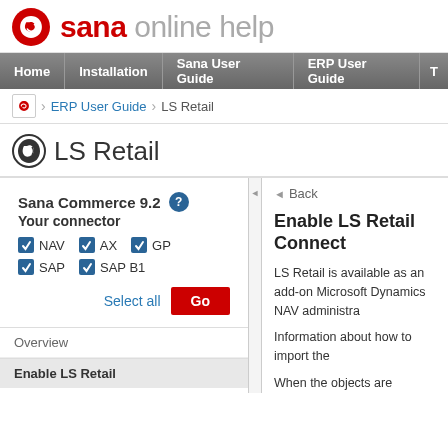sana online help
Home | Installation | Sana User Guide | ERP User Guide | T
ERP User Guide > LS Retail
LS Retail
Sana Commerce 9.2
Your connector
NAV AX GP
SAP SAP B1
Select all Go
Back

Enable LS Retail Connect

LS Retail is available as an add-on Microsoft Dynamics NAV administra...

Information about how to import the...

When the objects are imported into Connector.
Overview
Enable LS Retail